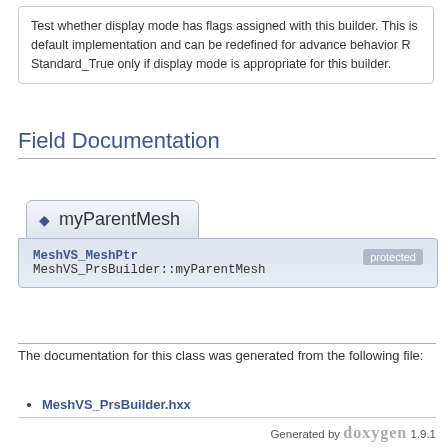Test whether display mode has flags assigned with this builder. This is default implementation and can be redefined for advance behavior R Standard_True only if display mode is appropriate for this builder.
Field Documentation
MeshVS_MeshPtr MeshVS_PrsBuilder::myParentMesh [protected]
The documentation for this class was generated from the following file:
MeshVS_PrsBuilder.hxx
Generated by doxygen 1.9.1